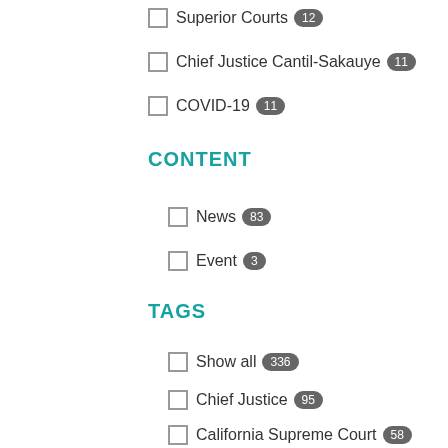Superior Courts 12
Chief Justice Cantil-Sakauye 11
COVID-19 11
CONTENT
News 83
Event 3
TAGS
Show all 336
Chief Justice 95
California Supreme Court 58
Show more